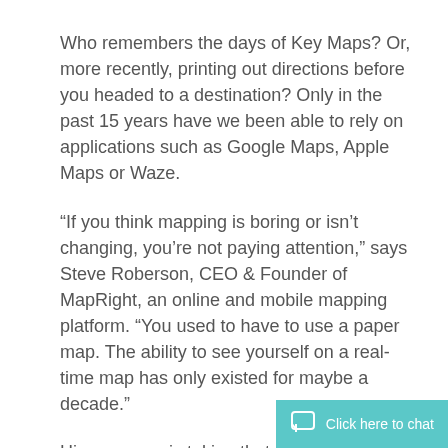Who remembers the days of Key Maps? Or, more recently, printing out directions before you headed to a destination? Only in the past 15 years have we been able to rely on applications such as Google Maps, Apple Maps or Waze.
“If you think mapping is boring or isn’t changing, you’re not paying attention,” says Steve Roberson, CEO & Founder of MapRight, an online and mobile mapping platform. “You used to have to use a paper map. The ability to see yourself on a real-time map has only existed for maybe a decade.”
His company is taking that evolution even further, allowing clients to navigate and build maps whether they have GIS experie[nce or not]